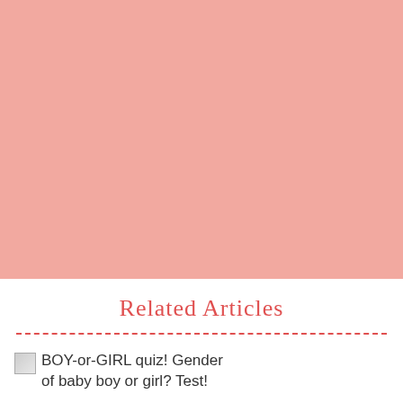[Figure (photo): Large pink/salmon colored rectangular block filling the upper portion of the page]
Related Articles
BOY-or-GIRL quiz! Gender of baby boy or girl? Test!